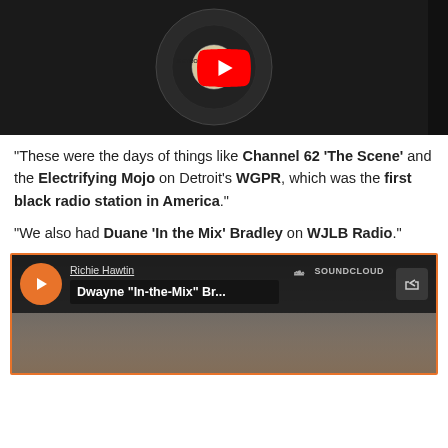[Figure (screenshot): YouTube video thumbnail showing a vinyl record with 'METROPLEX' and 'AUDIOTECH' labels, with a red YouTube play button overlay]
“These were the days of things like Channel 62 ‘The Scene’ and the Electrifying Mojo on Detroit’s WGPR, which was the first black radio station in America.”
“We also had Duane ‘In the Mix’ Bradley on WJLB Radio.”
[Figure (screenshot): SoundCloud embed player showing Richie Hawtin - Dwayne 'In-the-Mix' Br... with an orange play button, SoundCloud logo, and a person's face in the background]